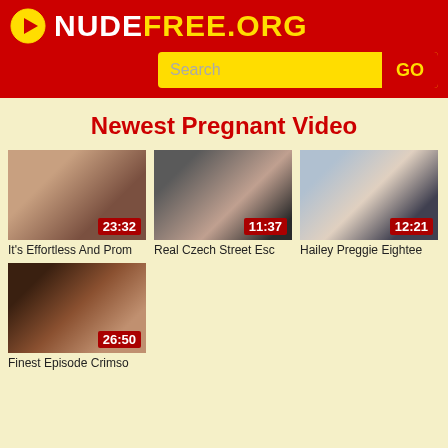NUDEFREE.ORG
Newest Pregnant Video
[Figure (screenshot): Video thumbnail 1 with duration 23:32]
It's Effortless And Prom
[Figure (screenshot): Video thumbnail 2 with duration 11:37]
Real Czech Street Esc
[Figure (screenshot): Video thumbnail 3 with duration 12:21]
Hailey Preggie Eightee
[Figure (screenshot): Video thumbnail 4 with duration 26:50]
Finest Episode Crimso